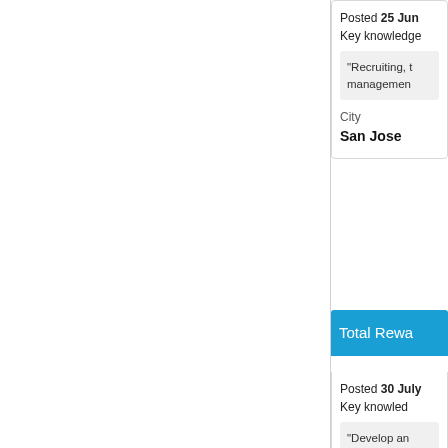Posted 25 Jun
Key knowledge
"Recruiting, t... management...
City
San Jose
Total Rewar...
Posted 30 July
Key knowledge
"Develop an...